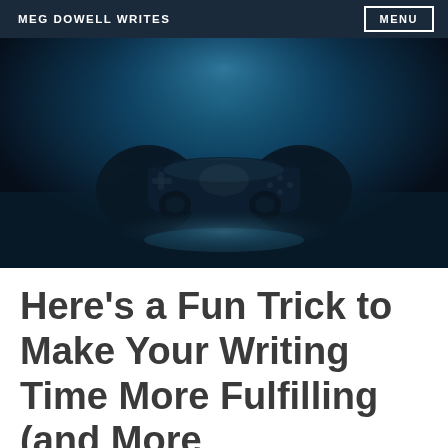MEG DOWELL WRITES | MENU
[Figure (photo): Dark blue-toned photograph of a PlayStation-style video game controller sitting on a reflective surface against a moody blue-lit background]
Here’s a Fun Trick to Make Your Writing Time More Fulfilling (and More